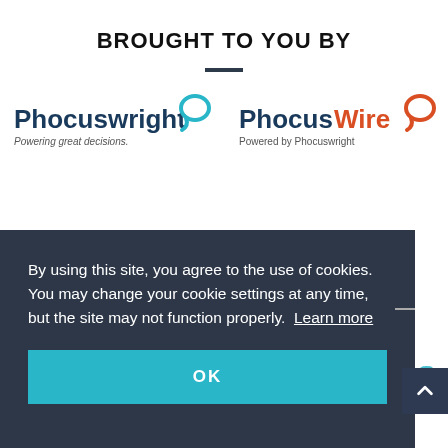BROUGHT TO YOU BY
[Figure (logo): Phocuswright logo with speech bubble icon and tagline 'Powering great decisions.']
[Figure (logo): PhocusWire logo with speech bubble icon and tagline 'Powered by Phocuswright']
By using this site, you agree to the use of cookies. You may change your cookie settings at any time, but the site may not function properly. Learn more
OK
SPONSORS AND PARTNERS